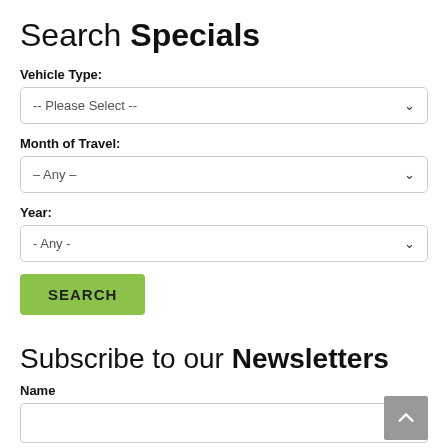Search Specials
Vehicle Type:
-- Please Select --
Month of Travel:
-- Any --
Year:
- Any -
SEARCH
Subscribe to our Newsletters
Name